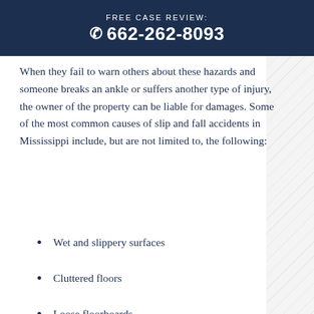FREE CASE REVIEW: 662-262-8093
When they fail to warn others about these hazards and someone breaks an ankle or suffers another type of injury, the owner of the property can be liable for damages. Some of the most common causes of slip and fall accidents in Mississippi include, but are not limited to, the following:
Wet and slippery surfaces
Cluttered floors
Loose floorboards
Potholes or uneven surfaces
Torn or uneven carpeting
Recently waxed floors